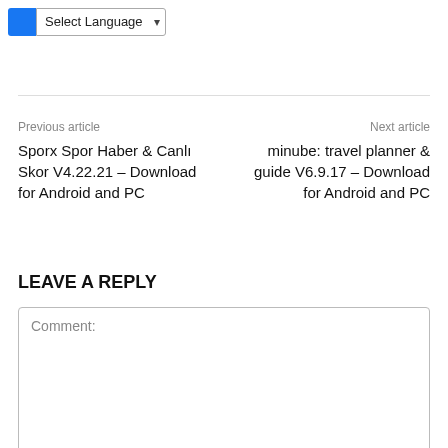[Figure (screenshot): UI element: blue Facebook-style icon followed by a 'Select Language' dropdown selector]
Previous article
Next article
Sporx Spor Haber & Canlı Skor V4.22.21 – Download for Android and PC
minube: travel planner & guide V6.9.17 – Download for Android and PC
LEAVE A REPLY
Comment: